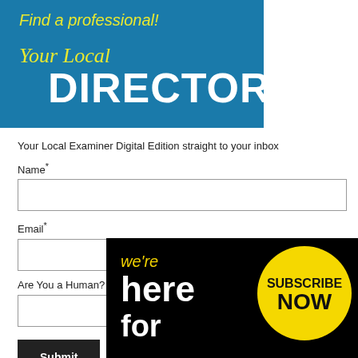[Figure (illustration): Blue banner with 'Find a professional! Your Local DIRECTORY' text in yellow and white]
Your Local Examiner Digital Edition straight to your inbox
Name*
Email*
Are You a Human? 7 + 1 =
Submit
[Figure (illustration): Black banner with yellow and white text: 'we're here for you' on left, yellow circle with 'SUBSCRIBE NOW' on right]